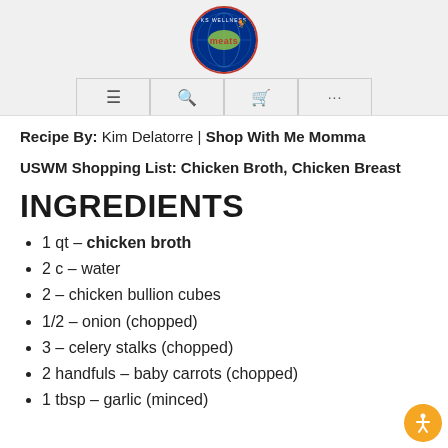[Figure (logo): KS Wellness Meats circular logo with globe and red meat label]
Navigation bar with hamburger menu, search, cart, and more icons
Recipe By: Kim Delatorre | Shop With Me Momma
USWM Shopping List: Chicken Broth, Chicken Breast
INGREDIENTS
1 qt – chicken broth
2 c – water
2 – chicken bullion cubes
1/2 – onion (chopped)
3 – celery stalks (chopped)
2 handfuls – baby carrots (chopped)
1 tbsp – garlic (minced)